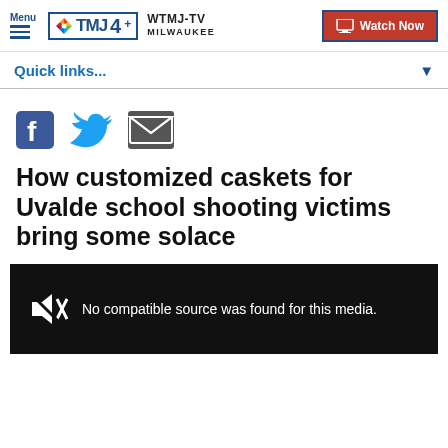Menu | WTMJ-TV MILWAUKEE | Watch Now
Quick links...
[Figure (other): Social share icons: Facebook, Twitter, Email]
How customized caskets for Uvalde school shooting victims bring some solace
[Figure (screenshot): Video player with error message: No compatible source was found for this media.]